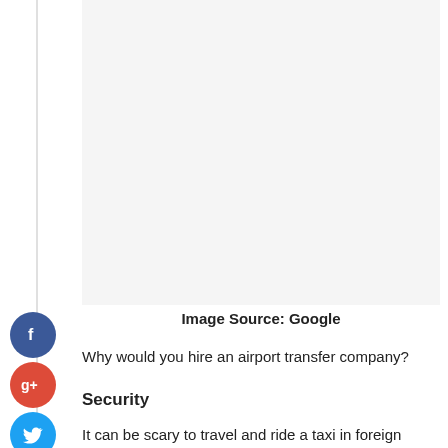[Figure (other): Blank/white image area placeholder]
Image Source: Google
Why would you hire an airport transfer company?
Security
It can be scary to travel and ride a taxi in foreign